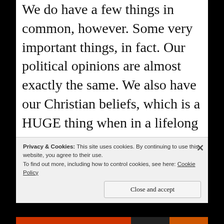We do have a few things in common, however. Some very important things, in fact. Our political opinions are almost exactly the same. We also have our Christian beliefs, which is a HUGE thing when in a lifelong relationship with a person you must share a room with, believe me! We have some of the most wonderful conversations about God and faith, and nary an argument about it to be heard, with the conversations about the same...
Privacy & Cookies: This site uses cookies. By continuing to use this website, you agree to their use.
To find out more, including how to control cookies, see here: Cookie Policy